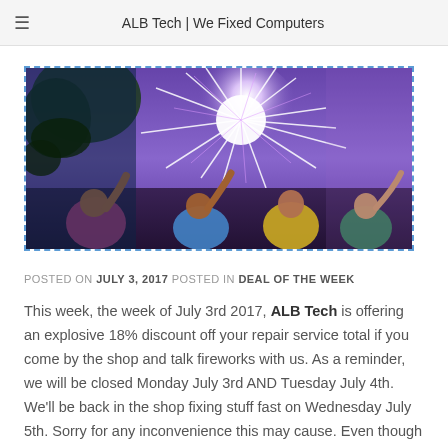ALB Tech | We Fixed Computers
[Figure (photo): People at an outdoor celebration looking up at bright fireworks/light burst in the sky at night or dusk]
POSTED ON JULY 3, 2017 POSTED IN DEAL OF THE WEEK
This week, the week of July 3rd 2017, ALB Tech is offering an explosive 18% discount off your repair service total if you come by the shop and talk fireworks with us. As a reminder, we will be closed Monday July 3rd AND Tuesday July 4th. We'll be back in the shop fixing stuff fast on Wednesday July 5th. Sorry for any inconvenience this may cause. Even though our week starts off not being open, you still have a great chance at saving money once we're back.